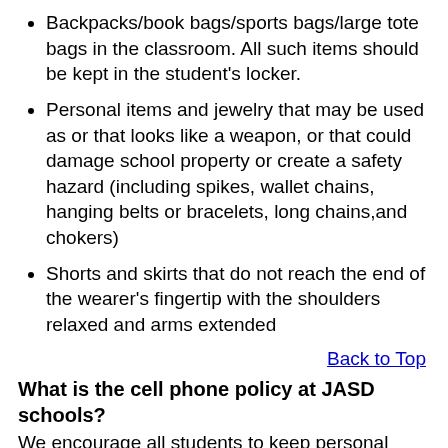Backpacks/book bags/sports bags/large tote bags in the classroom. All such items should be kept in the student's locker.
Personal items and jewelry that may be used as or that looks like a weapon, or that could damage school property or create a safety hazard (including spikes, wallet chains, hanging belts or bracelets, long chains,and chokers)
Shorts and skirts that do not reach the end of the wearer's fingertip with the shoulders relaxed and arms extended
Back to Top
What is the cell phone policy at JASD schools?
We encourage all students to keep personal electronic devices at home, including cell phones. While we understand a parent's wish to stay connected to their children during the school day, we cannot be held